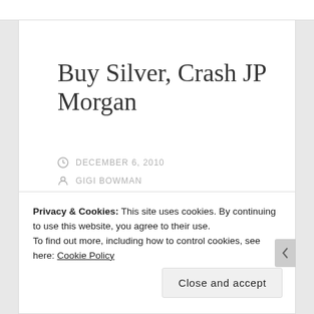Buy Silver, Crash JP Morgan
DECEMBER 6, 2010
GIGI BOWMAN
LEAVE A COMMENT
Privacy & Cookies: This site uses cookies. By continuing to use this website, you agree to their use.
To find out more, including how to control cookies, see here: Cookie Policy